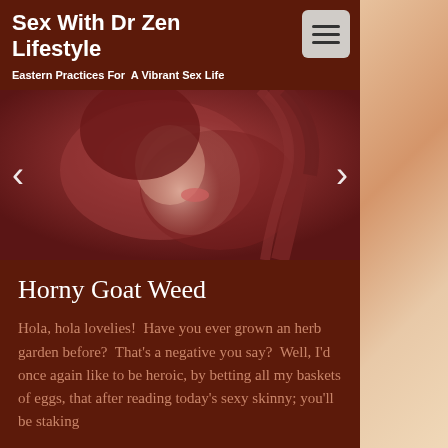Sex With Dr Zen Lifestyle
Eastern Practices For  A Vibrant Sex Life
[Figure (illustration): A stylized artistic painting of two figures in close embrace, rendered in deep red and mauve tones with dramatic lighting. Navigation arrows on left and right sides of the image slider.]
Horny Goat Weed
Hola, hola lovelies!  Have you ever grown an herb garden before?  That's a negative you say?  Well, I'd once again like to be heroic, by betting all my baskets of eggs, that after reading today's sexy skinny; you'll be staking